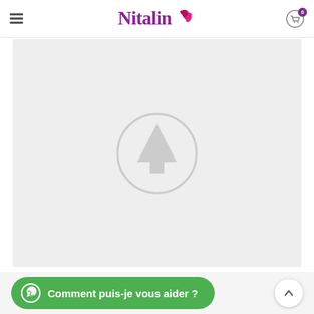Nitalin — navigation header with hamburger menu and cart icon (badge: 0)
[Figure (photo): Product image placeholder: light grey rectangle with a grey circular tree/upload icon in the center]
Comment puis-je vous aider ?